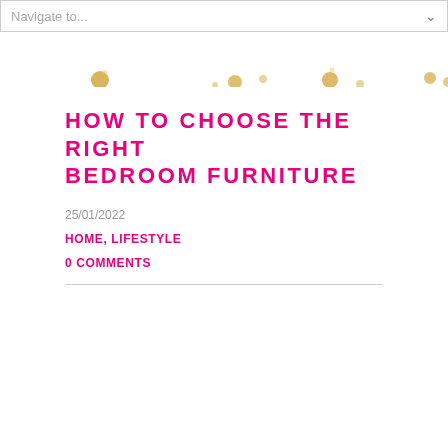Navigate to...
[Figure (illustration): Decorative banner with gold/yellow bokeh dots and circles on white background]
HOW TO CHOOSE THE RIGHT BEDROOM FURNITURE
25/01/2022
HOME, LIFESTYLE
0 COMMENTS